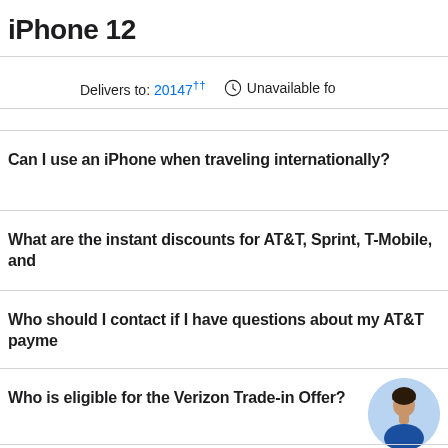iPhone 12
Delivers to: 20147†† Unavailable fo
Can I use an iPhone when traveling internationally?
What are the instant discounts for AT&T, Sprint, T-Mobile, and
Who should I contact if I have questions about my AT&T payme
Who is eligible for the Verizon Trade-in Offer?